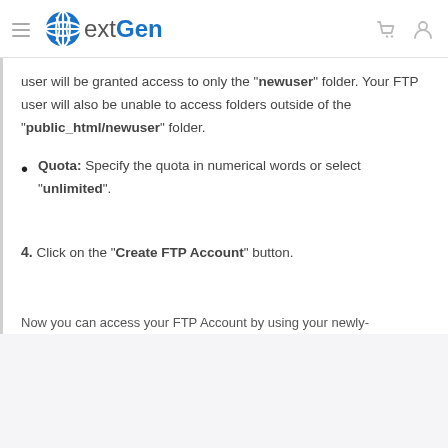[Figure (logo): NextGen logo with blue globe icon and text, navigation bar with hamburger menu, cart icon, and user icon]
user will be granted access to only the "newuser" folder. Your FTP user will also be unable to access folders outside of the "public_html/newuser" folder.
Quota: Specify the quota in numerical words or select "unlimited".
4. Click on the "Create FTP Account" button.
Now you can access your FTP Account by using your newly-